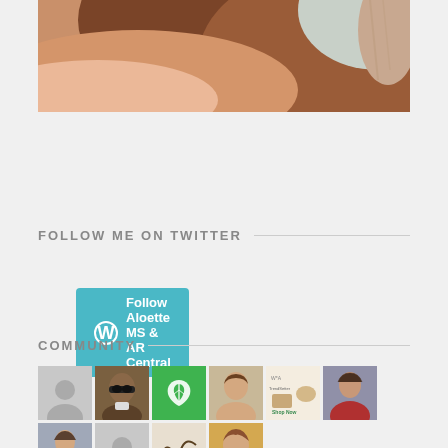[Figure (photo): Close-up photo of human skin, shoulder/neck area, warm tones]
[Figure (other): Follow Aloette MS & AR Central WordPress follow button, teal/cyan colored]
FOLLOW ME ON TWITTER
My Tweets
COMMUNITY
[Figure (photo): Community member avatar thumbnails grid: placeholder silhouette, man with sunglasses, green leaf logo, woman portrait, product blog image, woman in red, woman in coat, two more partial thumbnails]